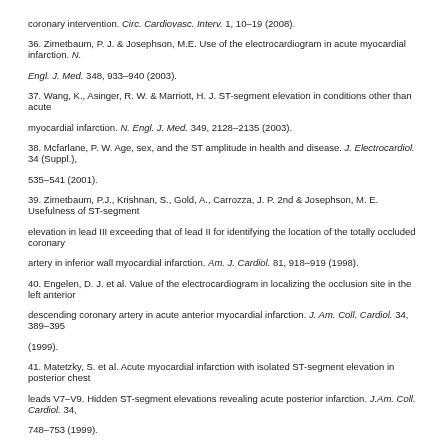coronary intervention. Circ. Cardiovasc. Interv. 1, 10–19 (2008).
36. Zimetbaum, P. J. & Josephson, M.E. Use of the electrocardiogram in acute myocardial infarction. N. Engl. J. Med. 348, 933–940 (2003).
37. Wang, K., Asinger, R. W. & Marriott, H. J. ST-segment elevation in conditions other than acute myocardial infarction. N. Engl. J. Med. 349, 2128–2135 (2003).
38. Mcfarlane, P. W. Age, sex, and the ST amplitude in health and disease. J. Electrocardiol. 34 (Suppl.), 535–541 (2001).
39. Zimetbaum, P.J., Krishnan, S., Gold, A., Carrozza, J. P. 2nd & Josephson, M. E. Usefulness of ST-segment elevation in lead III exceeding that of lead II for identifying the location of the totally occluded coronary artery in inferior wall myocardial infarction. Am. J. Cardiol. 81, 918–919 (1998).
40. Engelen, D. J. et al. Value of the electrocardiogram in localizing the occlusion site in the left anterior descending coronary artery in acute anterior myocardial infarction. J. Am. Coll. Cardiol. 34, 389–395 (1999).
41. Matetzky, S. et al. Acute myocardial infarction with isolated ST-segment elevation in posterior chest leads V7–V9. Hidden ST-segment elevations revealing acute posterior infarction. J.Am. Coll. Cardiol. 34, 748–753 (1999).